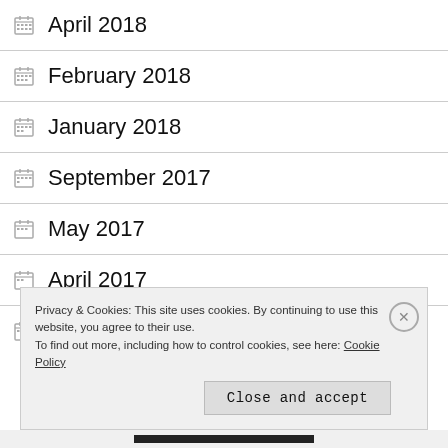April 2018
February 2018
January 2018
September 2017
May 2017
April 2017
February 2017
Privacy & Cookies: This site uses cookies. By continuing to use this website, you agree to their use.
To find out more, including how to control cookies, see here: Cookie Policy
Close and accept